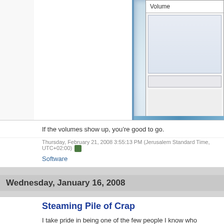[Figure (screenshot): Screenshot of a Volume panel UI element with 'Volume' header label and light blue/gray interface styling]
If the volumes show up, you're good to go.
Thursday, February 21, 2008 3:55:13 PM (Jerusalem Standard Time, UTC+02:00)
Software
Wednesday, January 16, 2008
Steaming Pile of Crap
I take pride in being one of the few people I know who actually buy their media: I have and I always feel good about having paid the people responsible for these efforts.
Until recently, that is.
It is commonly said that one of the most obvious traits of Israelis is that they hate to b